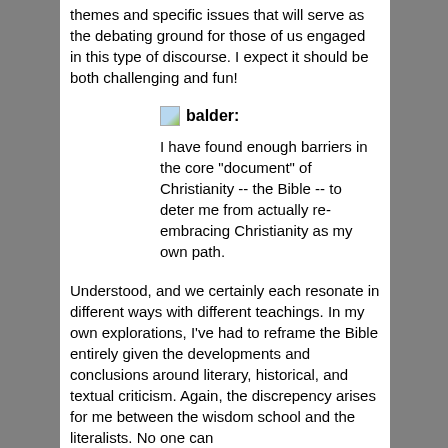themes and specific issues that will serve as the debating ground for those of us engaged in this type of discourse. I expect it should be both challenging and fun!
balder:
I have found enough barriers in the core "document" of Christianity -- the Bible -- to deter me from actually re-embracing Christianity as my own path.
Understood, and we certainly each resonate in different ways with different teachings. In my own explorations, I've had to reframe the Bible entirely given the developments and conclusions around literary, historical, and textual criticism. Again, the discrepency arises for me between the wisdom school and the literalists. No one can